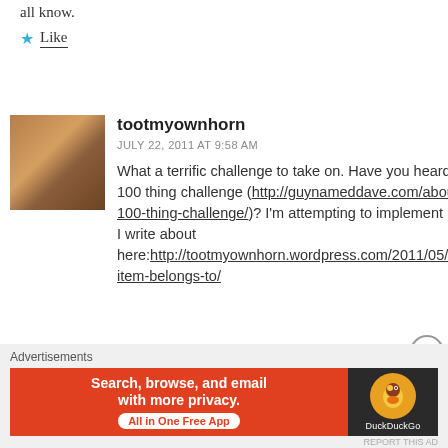all know.
★ Like
[Figure (photo): Avatar photo of commenter tootmyownhorn showing a person with reddish-brown hair]
tootmyownhorn
JULY 22, 2011 AT 9:58 AM
What a terrific challenge to take on. Have you heard of the 100 thing challenge (http://guynameddave.com/about-the-100-thing-challenge/)? I'm attempting to implement it which I write about here:http://tootmyownhorn.wordpress.com/2011/05/30/this-item-belongs-to/
Advertisements
[Figure (screenshot): DuckDuckGo advertisement banner: Search, browse, and email with more privacy. All in One Free App]